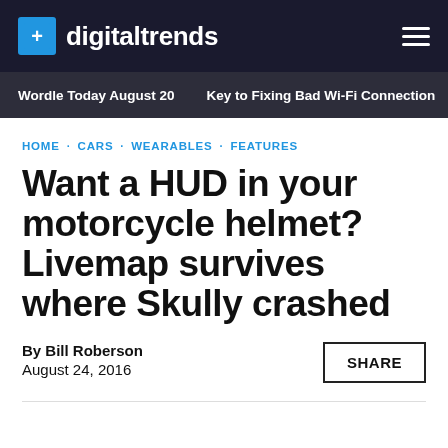digitaltrends
Wordle Today August 20 · Key to Fixing Bad Wi-Fi Connection
HOME · CARS · WEARABLES · FEATURES
Want a HUD in your motorcycle helmet? Livemap survives where Skully crashed
By Bill Roberson
August 24, 2016